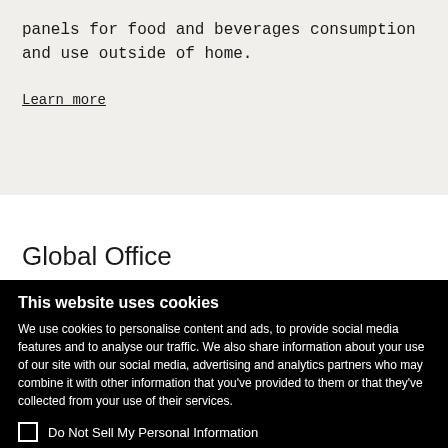panels for food and beverages consumption and use outside of home.
Learn more
Global Office
This website uses cookies
We use cookies to personalise content and ads, to provide social media features and to analyse our traffic. We also share information about your use of our site with our social media, advertising and analytics partners who may combine it with other information that you've provided to them or that they've collected from your use of their services.
Do Not Sell My Personal Information
OK
Show details